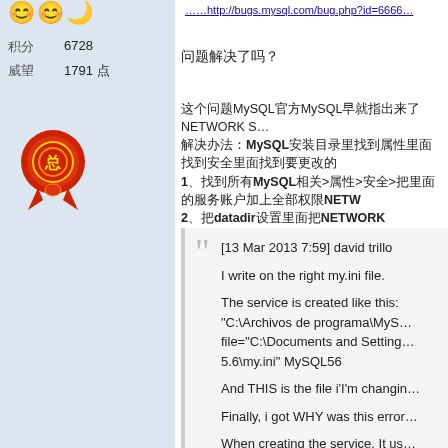[Figure (illustration): Three emoji icons: two smiley faces and a crescent moon]
积分 6728
威望 1791 点
[Figure (illustration): Red badge/award avatar image with decorative ribbon]
http://bugs.mysql.com/bug.php?id=...
问题解决了吗？
这个问题MySQL官方MySQL早就指出来了NETWORK SERVICE
解决办法：MySQL安装目录里找到属性里面找到安全里面
1、找到所有MySQL相关>属性>安全>把里面的服务账户加上全部权限NETW
2、把datadir设置里面把NETWORK SERVICE加上权限
[13 Mar 2013 7:59] david trillo
I write on the right my.ini file.

The service is created like this:
"C:\Archivos de programa\MySQL
file="C:\Documents and Settings\
5.6\my.ini" MySQL56

And THIS is the file i'I'm changin

Finally, i got WHY was this error

When creating the service, It us

After changing this, everything